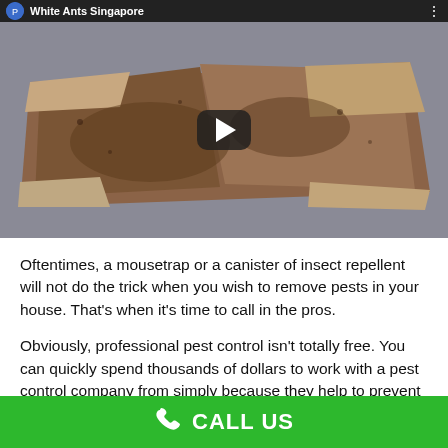[Figure (screenshot): YouTube-style video thumbnail showing a termite damaged wooden/cardboard material with brown debris on a grey surface. Video bar at top shows 'White Ants Singapore' with a channel icon and menu dots. A play button is overlaid in the center.]
Oftentimes, a mousetrap or a canister of insect repellent will not do the trick when you wish to remove pests in your house. That's when it's time to call in the pros.
Obviously, professional pest control isn't totally free. You can quickly spend thousands of dollars to work with a pest control company from simply because they help to prevent termites. Yet b
CALL US